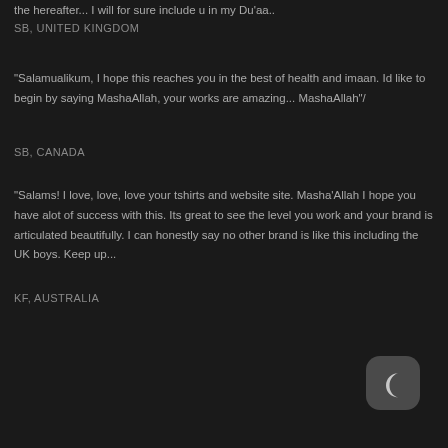the hereafter... I will for sure include u in my Du'aa..
SB, UNITED KINGDOM
"Salamualikum, I hope this reaches you in the best of health and imaan. Id like to begin by saying MashaAllah, your works are amazing... MashaAllah"/
SB, CANADA
"Salams! I love, love, love your tshirts and website site. Masha'Allah I hope you have alot of success with this. Its great to see the level you work and your brand is articulated beautifully. I can honestly say no other brand is like this including the UK boys. Keep up...
KF, AUSTRALIA
[Figure (illustration): Moon crescent icon on dark rounded square button]